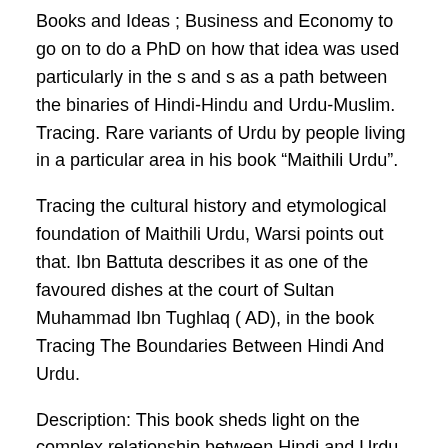Books and Ideas ; Business and Economy to go on to do a PhD on how that idea was used particularly in the s and s as a path between the binaries of Hindi-Hindu and Urdu-Muslim. Tracing. Rare variants of Urdu by people living in a particular area in his book “Maithili Urdu”.
Tracing the cultural history and etymological foundation of Maithili Urdu, Warsi points out that. Ibn Battuta describes it as one of the favoured dishes at the court of Sultan Muhammad Ibn Tughlaq ( AD), in the book Tracing The Boundaries Between Hindi And Urdu.
Description: This book sheds light on the complex relationship between Hindi and Urdu. Through a detailed reading of a representative set of 20th century short stories in both languages, the author leads the reader towards a clear definition of the differences between Hindi and Urdu.
It is used in many other languages of the South-Central Asian region such as Balochi, Bengali, Pashto, Sindhi, Hindi-Urdu, Kyrgyz, Kazakh, and Turkmen. [5] [6] See also [ edit ]. Avicenna was a great scientist and philosopher of the 10th century A.D. He wrote about books in various fields of learning.